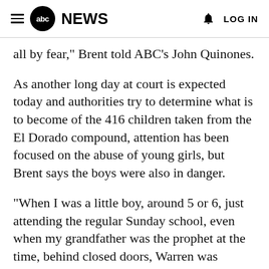abc NEWS  LOG IN
all by fear," Brent told ABC's John Quinones.
As another long day at court is expected today and authorities try to determine what is to become of the 416 children taken from the El Dorado compound, attention has been focused on the abuse of young girls, but Brent says the boys were also in danger.
"When I was a little boy, around 5 or 6, just attending the regular Sunday school, even when my grandfather was the prophet at the time, behind closed doors, Warren was sneaking around behind and would come down and escort me down the hall and into